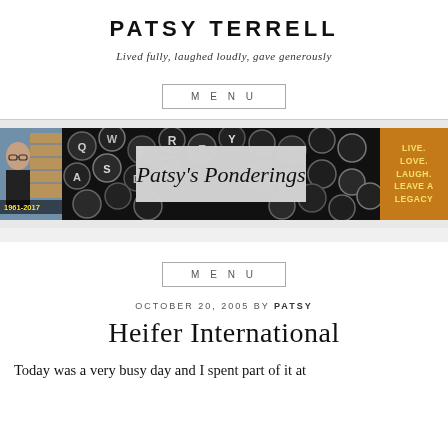PATSY TERRELL
Lived fully, laughed loudly, gave generously
MENU
[Figure (photo): Blog header banner showing a woman with glasses on the left, typewriter keys in the center with 'Patsy's Ponderings' script overlay, and an orange motivational sign reading 'LIVE. LOVE. LAUGH. LEAVE A LEGACY' on the right. Text '1961-2017' visible on left photo.]
MENU
OCTOBER 20, 2005 BY PATSY
Heifer International
Today was a very busy day and I spent part of it at